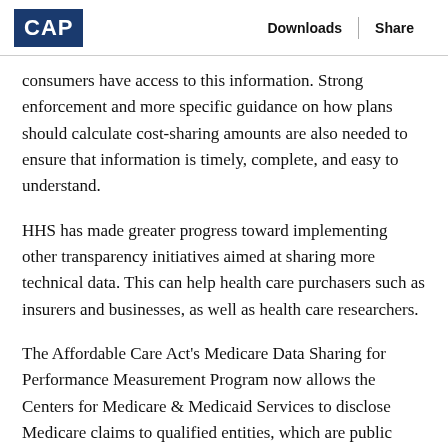CAP | Downloads | Share
consumers have access to this information. Strong enforcement and more specific guidance on how plans should calculate cost-sharing amounts are also needed to ensure that information is timely, complete, and easy to understand.
HHS has made greater progress toward implementing other transparency initiatives aimed at sharing more technical data. This can help health care purchasers such as insurers and businesses, as well as health care researchers.
The Affordable Care Act's Medicare Data Sharing for Performance Measurement Program now allows the Centers for Medicare & Medicaid Services to disclose Medicare claims to qualified entities, which are public